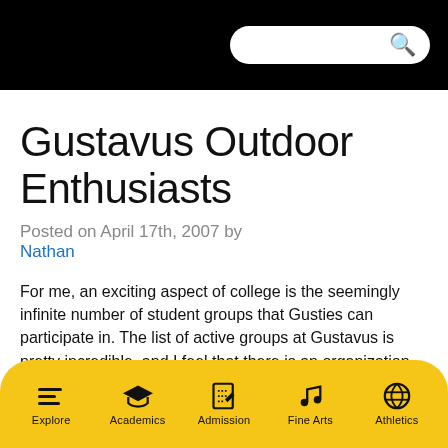[Search bar on black header]
Gustavus Outdoor Enthusiasts
Posted on April 17th, 2007 by Nathan
For me, an exciting aspect of college is the seemingly infinite number of student groups that Gusties can participate in. The list of active groups at Gustavus is pretty incredible, and I feel that there is an organization
Explore | Academics | Admission | Fine Arts | Athletics